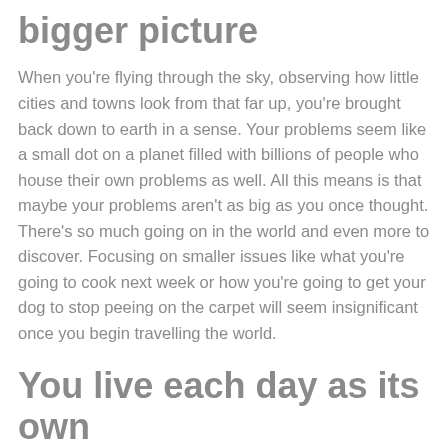bigger picture
When you're flying through the sky, observing how little cities and towns look from that far up, you're brought back down to earth in a sense. Your problems seem like a small dot on a planet filled with billions of people who house their own problems as well. All this means is that maybe your problems aren't as big as you once thought. There's so much going on in the world and even more to discover. Focusing on smaller issues like what you're going to cook next week or how you're going to get your dog to stop peeing on the carpet will seem insignificant once you begin travelling the world.
You live each day as its own
Rather than have your day, week or entire future